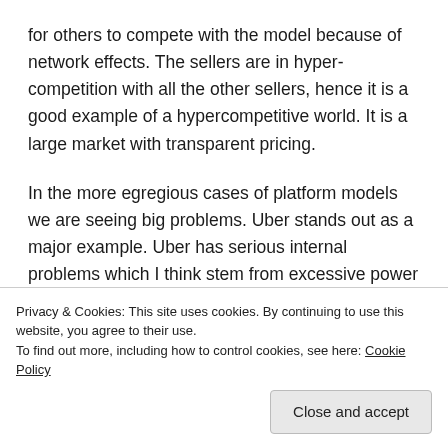for others to compete with the model because of network effects. The sellers are in hyper-competition with all the other sellers, hence it is a good example of a hypercompetitive world. It is a large market with transparent pricing.
In the more egregious cases of platform models we are seeing big problems. Uber stands out as a major example. Uber has serious internal problems which I think stem from excessive power issues. There are also lots of stories of low paid drivers, and conflicts about their status as employees or contractors. There is
Privacy & Cookies: This site uses cookies. By continuing to use this website, you agree to their use.
To find out more, including how to control cookies, see here: Cookie Policy
[Close and accept]